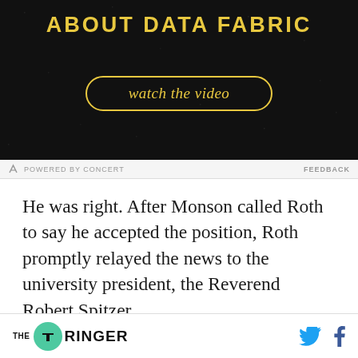[Figure (screenshot): Advertisement banner with dark background showing 'ABOUT DATA FABRIC' text in gold/yellow and a 'watch the video' button with gold border, on a dark starfield background.]
POWERED BY CONCERT   FEEDBACK
He was right. After Monson called Roth to say he accepted the position, Roth promptly relayed the news to the university president, the Reverend Robert Spitzer.
“Father goes, ‘Oh, oh, Mike. Oh, Mike. What are
THE RINGER